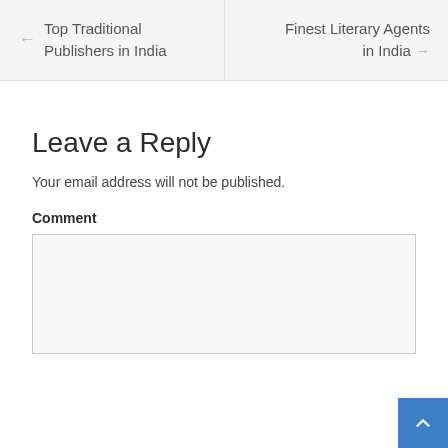← Top Traditional Publishers in India
Finest Literary Agents in India →
Leave a Reply
Your email address will not be published.
Comment
[Figure (other): Comment text input area (empty textarea)]